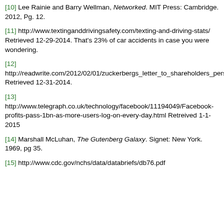[10] Lee Rainie and Barry Wellman, Networked. MIT Press: Cambridge. 2012, Pg. 12.
[11] http://www.textinganddrivingsafety.com/texting-and-driving-stats/ Retrieved 12-29-2014. That's 23% of car accidents in case you were wondering.
[12] http://readwrite.com/2012/02/01/zuckerbergs_letter_to_shareholders_personal_relationships_are_the_fundamental_unit_of_our_society Retrieved 12-31-2014.
[13] http://www.telegraph.co.uk/technology/facebook/11194049/Facebook-profits-pass-1bn-as-more-users-log-on-every-day.html Retreived 1-1-2015
[14] Marshall McLuhan, The Gutenberg Galaxy. Signet: New York. 1969, pg 35.
[15] http://www.cdc.gov/nchs/data/databriefs/db76.pdf